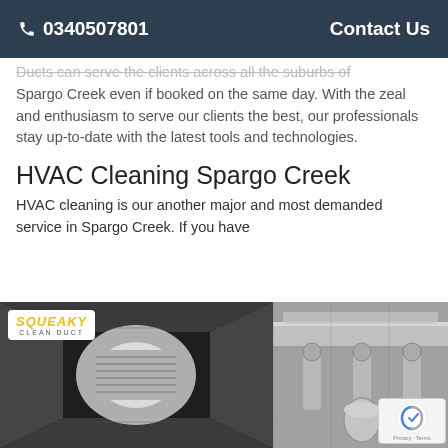📞 0340507801    Contact Us
Ducts can serve the clients across all the suburbs of Spargo Creek even if booked on the same day. With the zeal and enthusiasm to serve our clients the best, our professionals stay up-to-date with the latest tools and technologies.
HVAC Cleaning Spargo Creek
HVAC cleaning is our another major and most demanded service in Spargo Creek. If you have
[Figure (photo): Interior of a cleaned air duct with bright light at the end, showing metallic walls and a vent grille. Squeaky Clean Duct logo overlay in top-left corner.]
[Figure (photo): HVAC ductwork and piping system mounted on ceiling, industrial setting.]